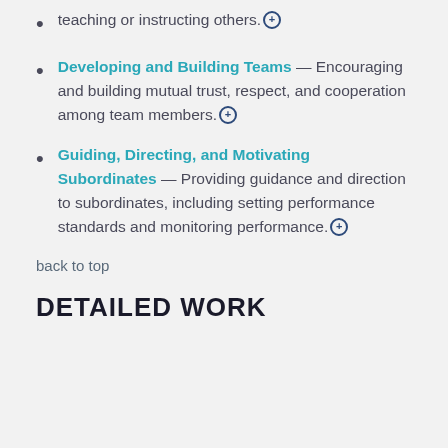teaching or instructing others.⊕
Developing and Building Teams — Encouraging and building mutual trust, respect, and cooperation among team members.⊕
Guiding, Directing, and Motivating Subordinates — Providing guidance and direction to subordinates, including setting performance standards and monitoring performance.⊕
back to top
DETAILED WORK